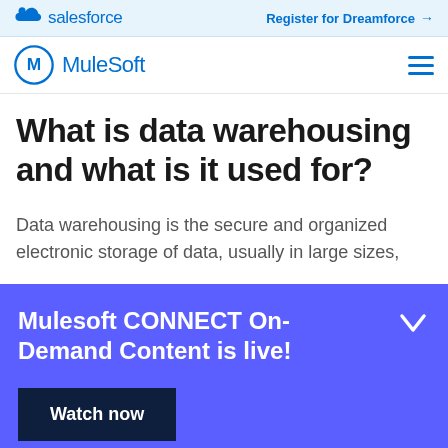salesforce   Register for Dreamforce →
MuleSoft
What is data warehousing and what is it used for?
Data warehousing is the secure and organized electronic storage of data, usually in large sizes,
Mulesoft CONNECT On-Demand Content is live!  Watch now